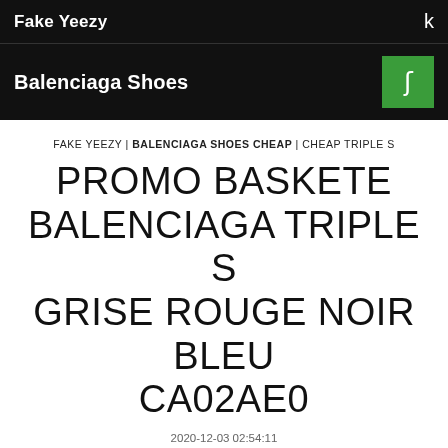Fake Yeezy
Balenciaga Shoes
FAKE YEEZY | BALENCIAGA SHOES CHEAP | CHEAP TRIPLE S
PROMO BASKETE BALENCIAGA TRIPLE S GRISE ROUGE NOIR BLEU CA02AE0
2020-12-03 02:54:11
promo baskete balenciaga triple s grise rouge noir bleu ca02ae0